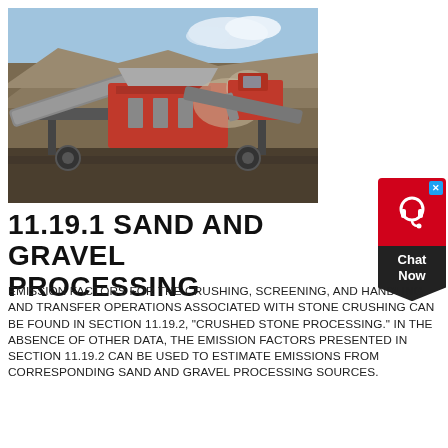[Figure (photo): Industrial sand and gravel processing machinery — a large crusher/screener on a job site with dirt mounds and blue sky in the background.]
[Figure (other): Chat Now widget — red icon box with headset symbol and close X button, dark chevron label reading 'Chat Now'.]
11.19.1 SAND AND GRAVEL PROCESSING
EMISSION FACTORS FOR THE CRUSHING, SCREENING, AND HANDLING AND TRANSFER OPERATIONS ASSOCIATED WITH STONE CRUSHING CAN BE FOUND IN SECTION 11.19.2, "CRUSHED STONE PROCESSING." IN THE ABSENCE OF OTHER DATA, THE EMISSION FACTORS PRESENTED IN SECTION 11.19.2 CAN BE USED TO ESTIMATE EMISSIONS FROM CORRESPONDING SAND AND GRAVEL PROCESSING SOURCES.